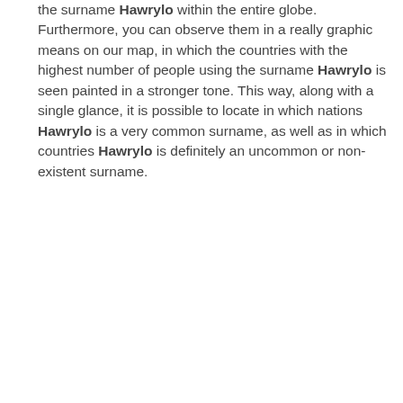the surname Hawrylo within the entire globe. Furthermore, you can observe them in a really graphic means on our map, in which the countries with the highest number of people using the surname Hawrylo is seen painted in a stronger tone. This way, along with a single glance, it is possible to locate in which nations Hawrylo is a very common surname, as well as in which countries Hawrylo is definitely an uncommon or non-existent surname.